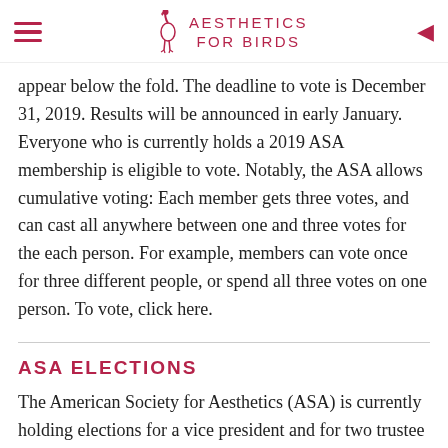AESTHETICS FOR BIRDS
appear below the fold. The deadline to vote is December 31, 2019. Results will be announced in early January. Everyone who is currently holds a 2019 ASA membership is eligible to vote. Notably, the ASA allows cumulative voting: Each member gets three votes, and can cast all anywhere between one and three votes for the each person. For example, members can vote once for three different people, or spend all three votes on one person. To vote, click here.
ASA ELECTIONS
The American Society for Aesthetics (ASA) is currently holding elections for a vice president and for two trustee